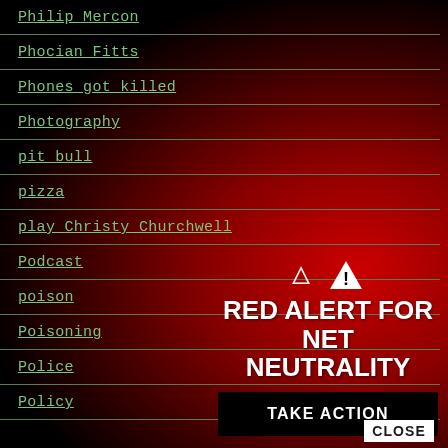Philip Mercon
Phocian Fitts
Phones got killed
Photography
pit bull
pizza
play Christy Churchwell
Podcast
poison
Poisoning
Police
Policy
[Figure (infographic): Red Alert for Net Neutrality overlay panel with warning triangle icon, bold white text reading RED ALERT FOR NET NEUTRALITY, and a black TAKE ACTION button]
CLOSE